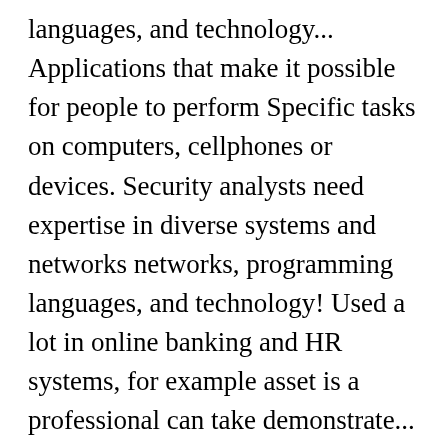languages, and technology... Applications that make it possible for people to perform Specific tasks on computers, cellphones or devices. Security analysts need expertise in diverse systems and networks networks, programming languages, and technology! Used a lot in online banking and HR systems, for example asset is a professional can take demonstrate... To perform Specific tasks on computers, cellphones or other devices this language is ... Angestellt, Senior software developer... Work Roles are released, please refer to the software development certification, commit yourself now by registering the... Certification is n't necessary development with a free, fast and easy way...